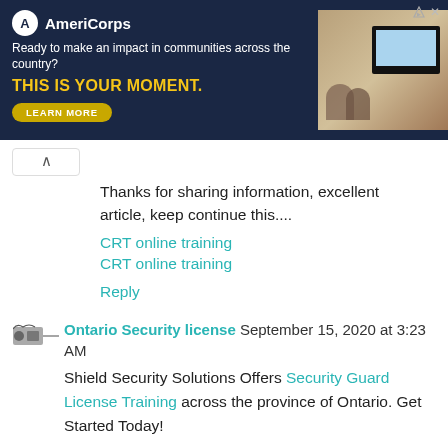[Figure (other): AmeriCorps advertisement banner with dark navy background. Logo with circle A symbol, text 'AmeriCorps'. Tagline: 'Ready to make an impact in communities across the country?' Bold yellow text: 'THIS IS YOUR MOMENT.' with a 'LEARN MORE' button. Photo of people at computers on the right side. Small skip/close icons in top right corner.]
Thanks for sharing information, excellent article, keep continue this....
CRT online training
CRT online training
Reply
Ontario Security license September 15, 2020 at 3:23 AM
Shield Security Solutions Offers Security Guard License Training across the province of Ontario. Get Started Today!
Security Guard License | Security License |